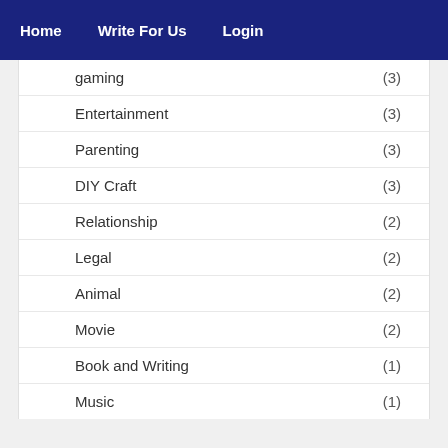Home   Write For Us   Login
gaming (3)
Entertainment (3)
Parenting (3)
DIY Craft (3)
Relationship (2)
Legal (2)
Animal (2)
Movie (2)
Book and Writing (1)
Music (1)